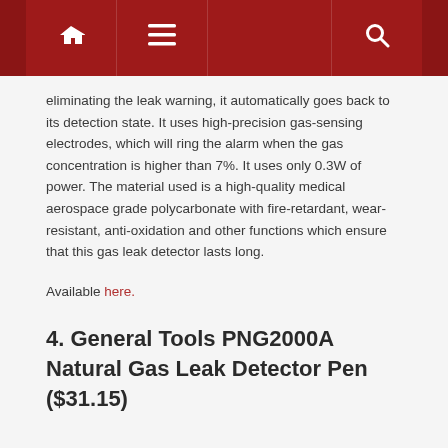Navigation bar with home, menu, and search icons
eliminating the leak warning, it automatically goes back to its detection state. It uses high-precision gas-sensing electrodes, which will ring the alarm when the gas concentration is higher than 7%. It uses only 0.3W of power. The material used is a high-quality medical aerospace grade polycarbonate with fire-retardant, wear-resistant, anti-oxidation and other functions which ensure that this gas leak detector lasts long.
Available here.
4. General Tools PNG2000A Natural Gas Leak Detector Pen ($31.15)